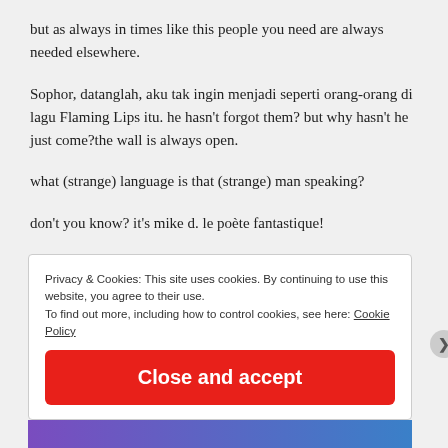but as always in times like this people you need are always needed elsewhere.
Sophor, datanglah, aku tak ingin menjadi seperti orang-orang di lagu Flaming Lips itu. he hasn't forgot them? but why hasn't he just come?the wall is always open.
what (strange) language is that (strange) man speaking?
don't you know? it's mike d. le poète fantastique!
Privacy & Cookies: This site uses cookies. By continuing to use this website, you agree to their use. To find out more, including how to control cookies, see here: Cookie Policy
Close and accept